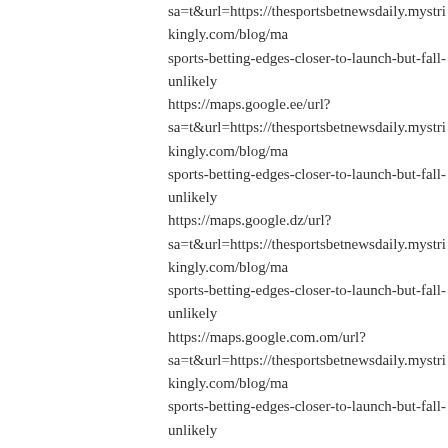sa=t&url=https://thesportsbetnewsdaily.mystrikingly.com/blog/ma sports-betting-edges-closer-to-launch-but-fall-unlikely
https://maps.google.ee/url? sa=t&url=https://thesportsbetnewsdaily.mystrikingly.com/blog/ma sports-betting-edges-closer-to-launch-but-fall-unlikely
https://maps.google.dz/url? sa=t&url=https://thesportsbetnewsdaily.mystrikingly.com/blog/ma sports-betting-edges-closer-to-launch-but-fall-unlikely
https://maps.google.com.om/url? sa=t&url=https://thesportsbetnewsdaily.mystrikingly.com/blog/ma sports-betting-edges-closer-to-launch-but-fall-unlikely
https://maps.google.com.ni/url? sa=t&url=https://thesportsbetnewsdaily.mystrikingly.com/blog/ma sports-betting-edges-closer-to-launch-but-fall-unlikely
https://maps.google.com.ng/url? sa=t&url=https://thesportsbetnewsdaily.mystrikingly.com/blog/ma sports-betting-edges-closer-to-launch-but-fall-